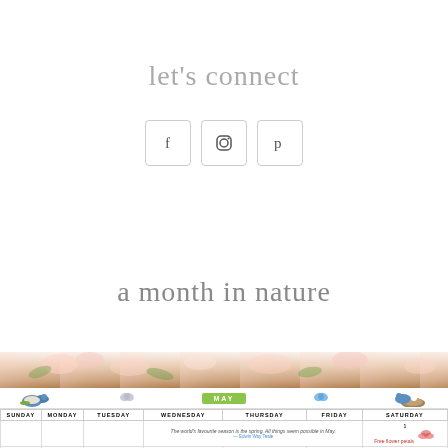let's connect
[Figure (infographic): Three social media icon buttons in rounded square boxes: Facebook (f), Instagram (camera icon), Pinterest (p)]
a month in nature
[Figure (photo): A decorative nature-themed May calendar with floral border showing pink flowers on wood background, birds, butterflies, a nest, and a MAY banner. Calendar grid shows days of the week with notes and illustrations.]